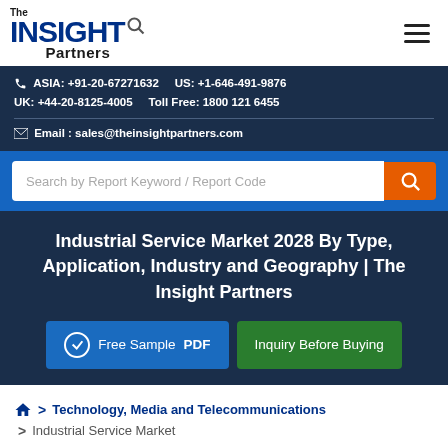[Figure (logo): The Insight Partners logo with magnifier icon]
ASIA: +91-20-67271632   US: +1-646-491-9876
UK: +44-20-8125-4005    Toll Free: 1800 121 6455
Email : sales@theinsightpartners.com
Search by Report Keyword / Report Code
Industrial Service Market 2028 By Type, Application, Industry and Geography | The Insight Partners
Free Sample PDF
Inquiry Before Buying
Technology, Media and Telecommunications
Industrial Service Market